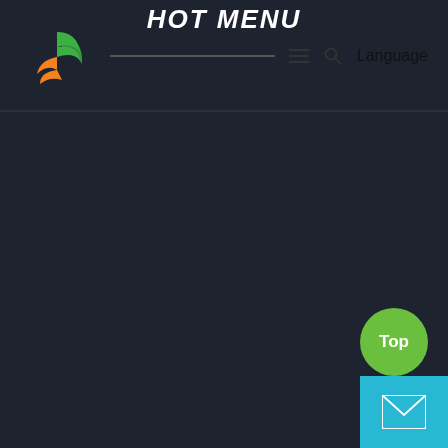HOT MENU
[Figure (logo): Website logo: circular icon with orange and green flame/leaf shapes on dark background]
Language
[Figure (other): Dark navy background main content area, mostly empty]
[Figure (other): Green circular 'Top' button and cyan/teal mail envelope button in bottom right corner]